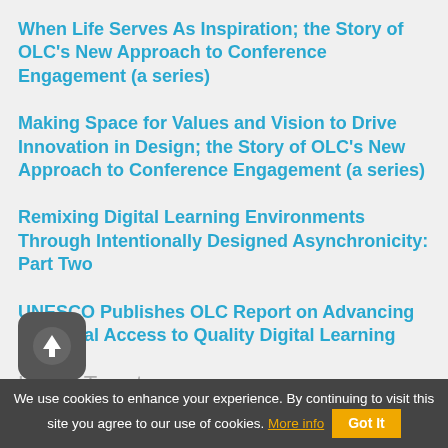When Life Serves As Inspiration; the Story of OLC's New Approach to Conference Engagement (a series)
Making Space for Values and Vision to Drive Innovation in Design; the Story of OLC's New Approach to Conference Engagement (a series)
Remixing Digital Learning Environments Through Intentionally Designed Asynchronicity: Part Two
UNESCO Publishes OLC Report on Advancing Universal Access to Quality Digital Learning
Latest Tweets
Happy Friday! Today is the last day to apply for the OLC Global program! Submit your application today
We use cookies to enhance your experience. By continuing to visit this site you agree to our use of cookies. More info  Got It